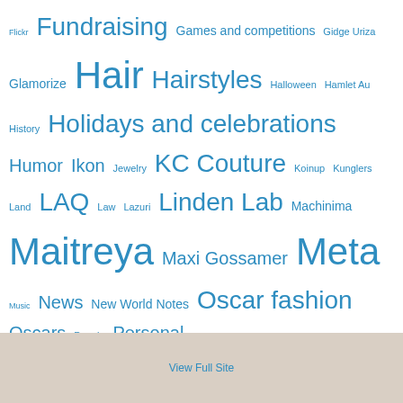Flickr Fundraising Games and competitions Gidge Uriza Glamorize Hair Hairstyles Halloween Hamlet Au History Holidays and celebrations Humor Ikon Jewelry KC Couture Koinup Kunglers Land LAQ Law Lazuri Linden Lab Machinima Maitreya Maxi Gossamer Meta Music News New World Notes Oscar fashion Oscars People Personal Photographs Photography Places and Exploring Poetry and Lyrics Project 365 PXL Real Life Reblog Relay for Life Religion rezology Sascha's Designs Second Life SlackGirl Strawberry Singh Torley Linden Truth Hair Tukinowaguma Vanity Hair Zibska
View Full Site